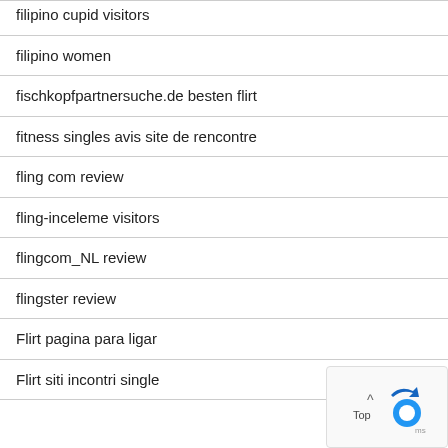filipino cupid visitors
filipino women
fischkopfpartnersuche.de besten flirt
fitness singles avis site de rencontre
fling com review
fling-inceleme visitors
flingcom_NL review
flingster review
Flirt pagina para ligar
Flirt siti incontri single